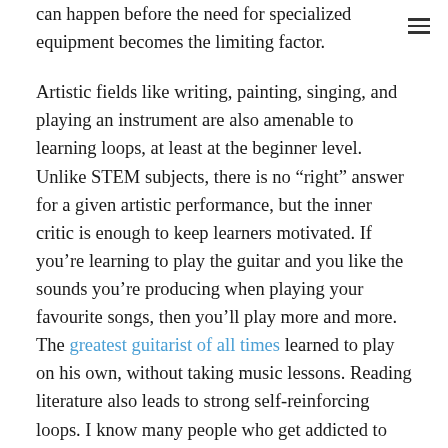can happen before the need for specialized equipment becomes the limiting factor.
Artistic fields like writing, painting, singing, and playing an instrument are also amenable to learning loops, at least at the beginner level. Unlike STEM subjects, there is no “right” answer for a given artistic performance, but the inner critic is enough to keep learners motivated. If you’re learning to play the guitar and you like the sounds you’re producing when playing your favourite songs, then you’ll play more and more. The greatest guitarist of all times learned to play on his own, without taking music lessons. Reading literature also leads to strong self-reinforcing loops. I know many people who get addicted to reading: they read one novel, enjoy the story, then read more and more. That’s why we have bookstores: they are the SQDCs of reading.
It’s not all good though. Developing advanced-level skills is